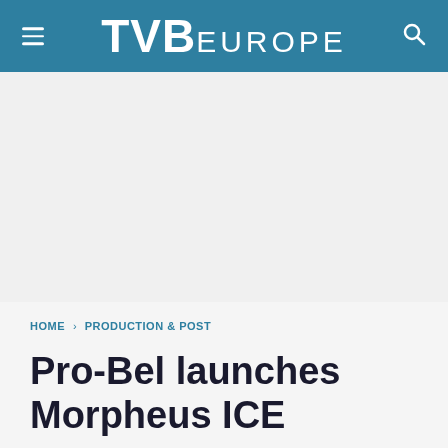TVB EUROPE
[Figure (other): Advertisement area (blank)]
HOME › PRODUCTION & POST
Pro-Bel launches Morpheus ICE